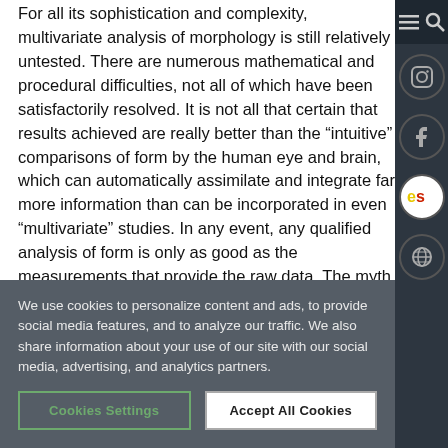For all its sophistication and complexity, multivariate analysis of morphology is still relatively untested. There are numerous mathematical and procedural difficulties, not all of which have been satisfactorily resolved. It is not all that certain that results achieved are really better than the "intuitive" comparisons of form by the human eye and brain, which can automatically assimilate and integrate far more information than can be incorporated in even "multivariate" studies. In any event, any qualified analysis of form is only as good as the measurements that provide the raw data. The myth of objectivity is stripped from these methods when it is realized that the analyst must decide what to measure and how to
We use cookies to personalize content and ads, to provide social media features, and to analyze our traffic. We also share information about your use of our site with our social media, advertising, and analytics partners.